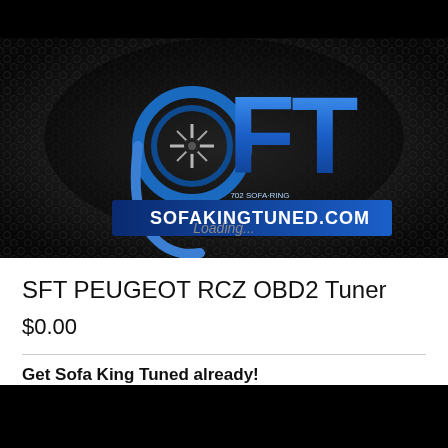[Figure (logo): Sofa King Tuned LLC logo on dark hexagonal pattern background. Large 'SFT' letters in blue gradient with a turbocharger graphic replacing the 'S'. Below reads 'SOFAKINGTUNED.COM' in blue. Text 'Loading...' overlaid in gray italic. Website and phone '702 SOFA-RING' shown.]
SFT PEUGEOT RCZ OBD2 Tuner
$0.00
Get Sofa King Tuned already!